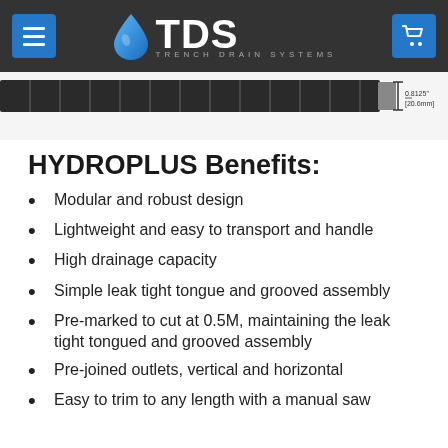TDS TRENCH DRAIN SYSTEMS
[Figure (engineering-diagram): Partial cross-section/profile diagram of a trench drain channel with a dimension annotation showing 0.8125" [20.6mm]]
HYDROPLUS Benefits:
Modular and robust design
Lightweight and easy to transport and handle
High drainage capacity
Simple leak tight tongue and grooved assembly
Pre-marked to cut at 0.5M, maintaining the leak tight tongued and grooved assembly
Pre-joined outlets, vertical and horizontal
Easy to trim to any length with a manual saw